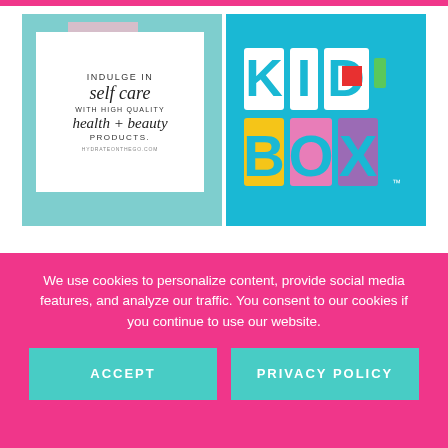[Figure (illustration): Health and beauty product promotional image with teal background and white card reading 'INDULGE IN self care WITH HIGH QUALITY health + beauty PRODUCTS. HYDRATEONTHEGO.COM']
[Figure (logo): KidBox logo on teal/cyan background with colorful 3D block letters spelling KID BOX]
[Figure (logo): Amazon logo in large bold black text]
We use cookies to personalize content, provide social media features, and analyze our traffic. You consent to our cookies if you continue to use our website.
ACCEPT
PRIVACY POLICY